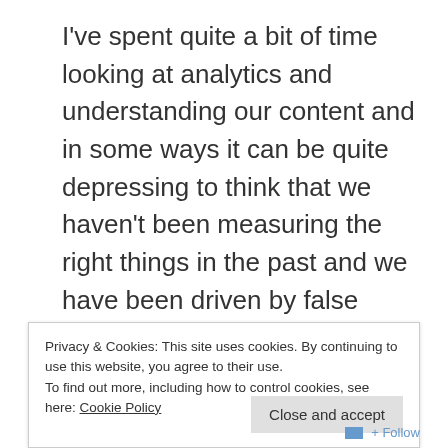I've spent quite a bit of time looking at analytics and understanding our content and in some ways it can be quite depressing to think that we haven't been measuring the right things in the past and we have been driven by false statistics relating to a website overall instead of more appropriate measures around the value of content itself.
At the same time I've been testing the draft
Privacy & Cookies: This site uses cookies. By continuing to use this website, you agree to their use.
To find out more, including how to control cookies, see here: Cookie Policy
Close and accept